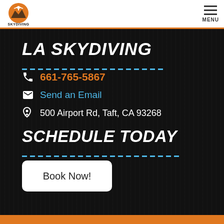LA Skydiving logo and MENU
LA SKYDIVING
661-765-5867
Send an Email
500 Airport Rd, Taft, CA 93268
SCHEDULE TODAY
Book Now!